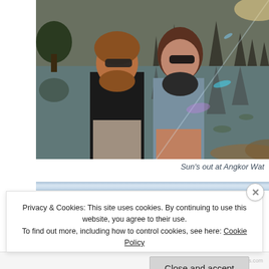[Figure (photo): Two people (a man with beard and sunglasses, and a woman with sunglasses) standing in front of a reflective pond with temple spires reflected in the water at Angkor Wat, Cambodia. Sunlight lens flare visible.]
Sun's out at Angkor Wat
Privacy & Cookies: This site uses cookies. By continuing to use this website, you agree to their use.
To find out more, including how to control cookies, see here: Cookie Policy